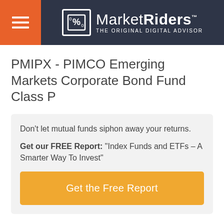MarketRiders THE ORIGINAL DIGITAL ADVISOR
PMIPX - PIMCO Emerging Markets Corporate Bond Fund Class P
Don't let mutual funds siphon away your returns.
Get our FREE Report: "Index Funds and ETFs – A Smarter Way To Invest"
Get the Free Report